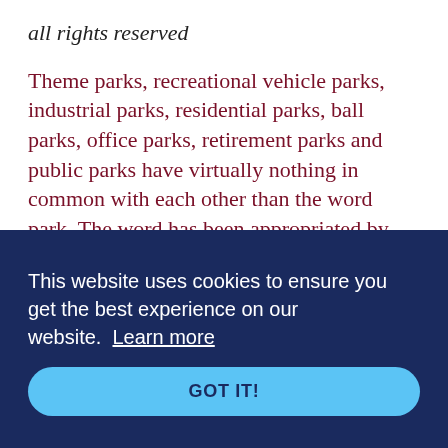all rights reserved
Theme parks, recreational vehicle parks, industrial parks, residential parks, ball parks, office parks, retirement parks and public parks have virtually nothing in common with each other than the word park. The word has been appropriated by the private sector because it has historically connoted a peaceful, tranquil, beautiful space that people are attracted to intrinsically. The very fact that the word has become so popular or, in order to attract customers is vivid testimony to its extraordinary appeal. Ironically, just as the private sector has usurped this uniquely public idea for commercial purposes, local government has increasingly redefined the term to mean an area that provides space for specific recreation activities. Quite often this
This website uses cookies to ensure you get the best experience on our website. Learn more
GOT IT!